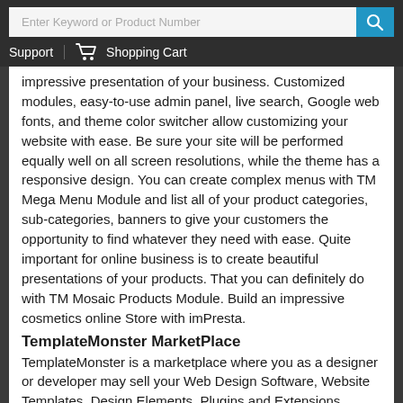Enter Keyword or Product Number
Support   Shopping Cart
impressive presentation of your business. Customized modules, easy-to-use admin panel, live search, Google web fonts, and theme color switcher allow customizing your website with ease. Be sure your site will be performed equally well on all screen resolutions, while the theme has a responsive design. You can create complex menus with TM Mega Menu Module and list all of your product categories, sub-categories, banners to give your customers the opportunity to find whatever they need with ease. Quite important for online business is to create beautiful presentations of your products. That you can definitely do with TM Mosaic Products Module. Build an impressive cosmetics online Store with imPresta.
TemplateMonster MarketPlace
TemplateMonster is a marketplace where you as a designer or developer may sell your Web Design Software, Website Templates, Design Elements, Plugins and Extensions. Become a digital products vendor and earn